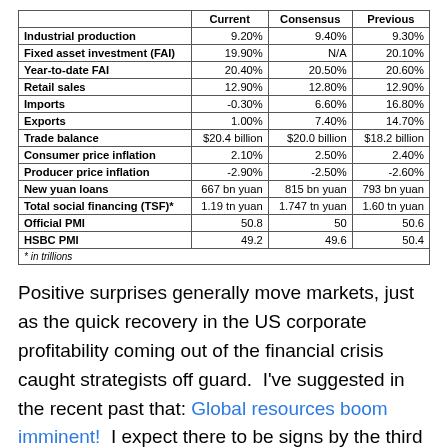|  | Current | Consensus | Previous |
| --- | --- | --- | --- |
| Industrial production | 9.20% | 9.40% | 9.30% |
| Fixed asset investment (FAI) | 19.90% | N/A | 20.10% |
| Year-to-date FAI | 20.40% | 20.50% | 20.60% |
| Retail sales | 12.90% | 12.80% | 12.90% |
| Imports | -0.30% | 6.60% | 16.80% |
| Exports | 1.00% | 7.40% | 14.70% |
| Trade balance | $20.4 billion | $20.0 billion | $18.2 billion |
| Consumer price inflation | 2.10% | 2.50% | 2.40% |
| Producer price inflation | -2.90% | -2.50% | -2.60% |
| New yuan loans | 667 bn yuan | 815 bn yuan | 793 bn yuan |
| Total social financing (TSF)* | 1.19 tn yuan | 1.747 tn yuan | 1.60 tn yuan |
| Official PMI | 50.8 | 50 | 50.6 |
| HSBC PMI | 49.2 | 49.6 | 50.4 |
| * in trillions |  |  |  |
Positive surprises generally move markets, just as the quick recovery in the US corporate profitability coming out of the financial crisis caught strategists off guard.  I've suggested in the recent past that: Global resources boom imminent!  I expect there to be signs by the third quarter of this year that will get things moving.
As you can see by the following graph comparing the Shanghai Composite Index and the S&P 500, the Chinese